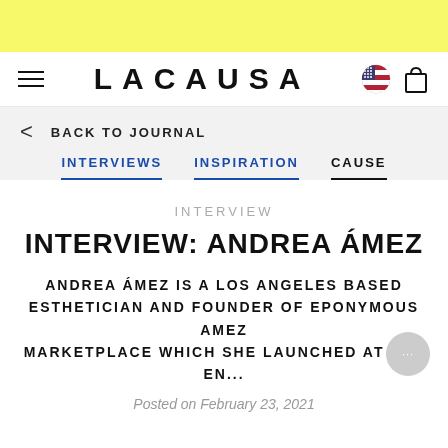[Figure (other): Yellow decorative bar at top of page]
LACAUSA — navigation header with hamburger menu, logo, flag icon, and shopping bag icon
< BACK TO JOURNAL
INTERVIEWS   INSPIRATION   CAUSE
INTERVIEW
INTERVIEW: ANDREA ÁMEZ
ANDREA ÁMEZ IS A LOS ANGELES BASED ESTHETICIAN AND FOUNDER OF EPONYMOUS AMEZ MARKETPLACE WHICH SHE LAUNCHED AT THE EN...
Posted on February 23, 2021